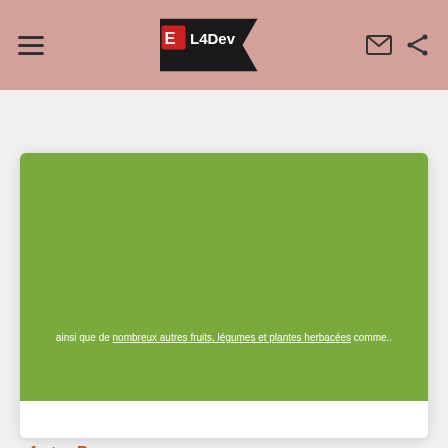EL4Dev — navigation header with logo, hamburger menu, email and share icons
[Figure (illustration): Green rectangular image area with white text overlay reading: ainsi que de nombreux autres fruits, légumes et plantes herbacées comme..]
ainsi que de nombreux autres fruits, légumes et plantes herbacées comme..
Social share icons: Facebook, Twitter, Pinterest